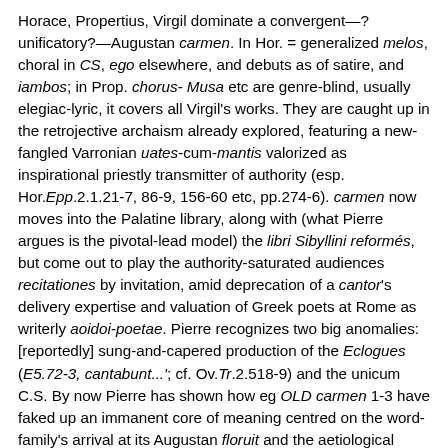Horace, Propertius, Virgil dominate a convergent—? unificatory?—Augustan carmen. In Hor. = generalized melos, choral in CS, ego elsewhere, and debuts as of satire, and iambos; in Prop. chorus- Musa etc are genre-blind, usually elegiac-lyric, it covers all Virgil's works. They are caught up in the retrojective archaism already explored, featuring a new-fangled Varronian uates-cum-mantis valorized as inspirational priestly transmitter of authority (esp. Hor.Epp.2.1.21-7, 86-9, 156-60 etc, pp.274-6). carmen now moves into the Palatine library, along with (what Pierre argues is the pivotal-lead model) the libri Sibyllini reformés, but come out to play the authority-saturated audiences recitationes by invitation, amid deprecation of a cantor's delivery expertise and valuation of Greek poets at Rome as writerly aoidoi-poetae. Pierre recognizes two big anomalies: [reportedly] sung-and-capered production of the Eclogues (E5.72-3, cantabunt...'; cf. Ov.Tr.2.518-9) and the unicum C.S. By now Pierre has shown how eg OLD carmen 1-3 have faked up an immanent core of meaning centred on the word-family's arrival at its Augustan floruit and the aetiological fictions cooked up by Republican Rome and the would-be definitive settlement of the discourse of (scripted)